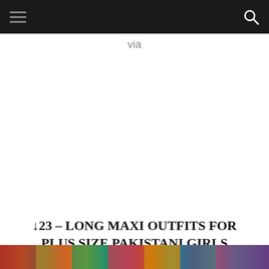via
↓23 – LONG MAXI OUTFITS FOR PLUS SIZE PAKISTANI GIRLS
[Figure (photo): Colorful photo strip at the bottom of the page showing Pakistani fashion outfits]